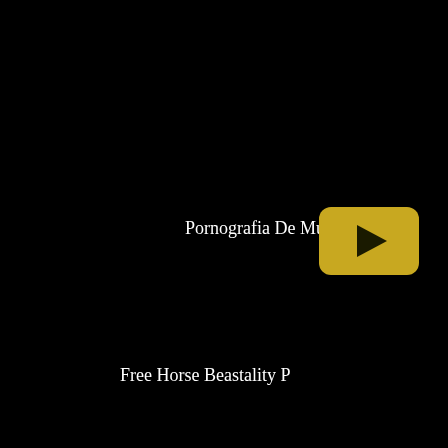Pornografia De Mujeres Con
[Figure (screenshot): YouTube-style play button: rounded yellow/golden rectangle with a black right-pointing triangle in the center]
[Figure (other): Loading spinner: circle of red/salmon colored dots, larger dots at bottom-left and smaller dots around the rest of the circle]
Free Horse Beastality P